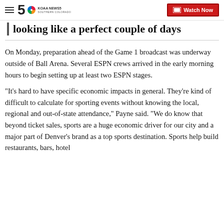KOAA NEWS5 SOUTHERN COLORADO | Watch Now
looking like a perfect couple of days
On Monday, preparation ahead of the Game 1 broadcast was underway outside of Ball Arena. Several ESPN crews arrived in the early morning hours to begin setting up at least two ESPN stages.
"It's hard to have specific economic impacts in general. They're kind of difficult to calculate for sporting events without knowing the local, regional and out-of-state attendance," Payne said. "We do know that beyond ticket sales, sports are a huge economic driver for our city and a major part of Denver's brand as a top sports destination. Sports help build restaurants, bars, hotel